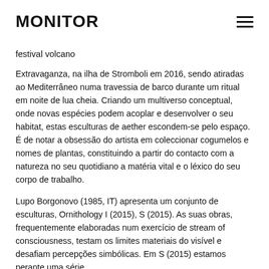MONITOR
festival volcano
Extravaganza, na ilha de Stromboli em 2016, sendo atiradas ao Mediterrâneo numa travessia de barco durante um ritual em noite de lua cheia. Criando um multiverso conceptual, onde novas espécies podem acoplar e desenvolver o seu habitat, estas esculturas de aether escondem-se pelo espaço. É de notar a obsessão do artista em coleccionar cogumelos e nomes de plantas, constituindo a partir do contacto com a natureza no seu quotidiano a matéria vital e o léxico do seu corpo de trabalho.
Lupo Borgonovo (1985, IT) apresenta um conjunto de esculturas, Ornithology I (2015), S (2015). As suas obras, frequentemente elaboradas num exercício de stream of consciousness, testam os limites materiais do visível e desafiam percepções simbólicas. Em S (2015) estamos perante uma série